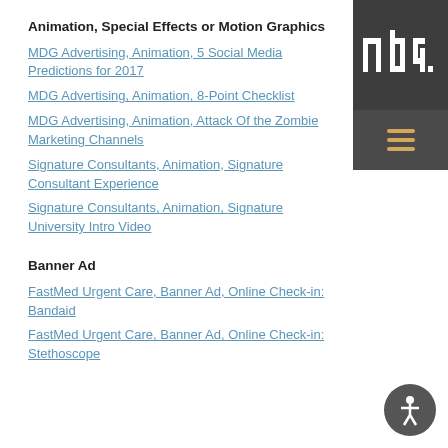Animation, Special Effects or Motion Graphics
MDG Advertising, Animation, 5 Social Media Predictions for 2017
MDG Advertising, Animation, 8-Point Checklist
MDG Advertising, Animation, Attack Of the Zombie Marketing Channels
Signature Consultants, Animation, Signature Consultant Experience
Signature Consultants, Animation, Signature University Intro Video
Banner Ad
FastMed Urgent Care, Banner Ad, Online Check-in: Bandaid
FastMed Urgent Care, Banner Ad, Online Check-in: Stethoscope
[Figure (logo): MDG logo — white letters mdg on dark gray background with hamburger menu icon in orange/gold on darker gray bar below]
[Figure (illustration): Accessibility icon — white person figure in circle on gray background, bottom right corner]